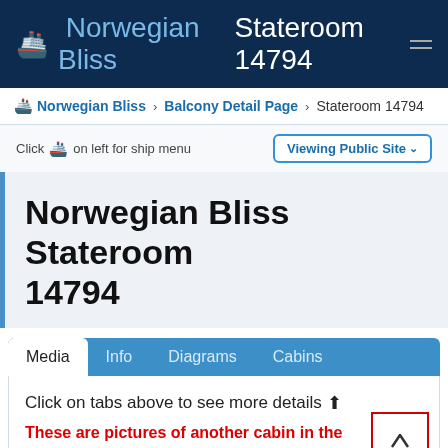Norwegian Bliss Stateroom 14794
Norwegian Bliss > Balcony Detail Page > Stateroom 14794
Click on left for ship menu  Viewing Public Site
Norwegian Bliss Stateroom 14794
Media  Info  Diagrams  Cabins
Click on tabs above to see more details ↑
These are pictures of another cabin in the same category
Click on images below for larger stateroom